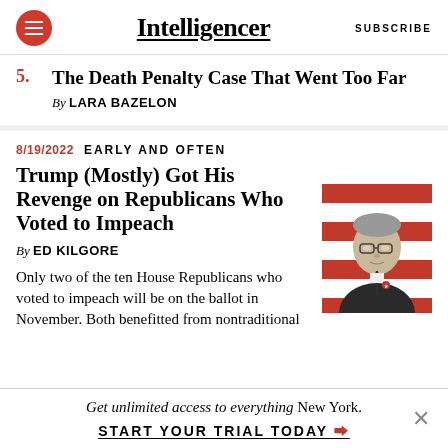Intelligencer | SUBSCRIBE
5. The Death Penalty Case That Went Too Far
By LARA BAZELON
8/19/2022  EARLY AND OFTEN
Trump (Mostly) Got His Revenge on Republicans Who Voted to Impeach
By ED KILGORE
[Figure (photo): Black and white photo of a man in a suit against red and white horizontal stripes background]
Only two of the ten House Republicans who voted to impeach will be on the ballot in November. Both benefitted from nontraditional
Get unlimited access to everything New York. START YOUR TRIAL TODAY